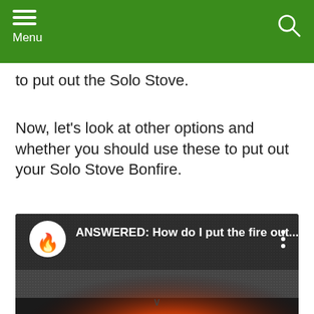Menu
to put out the Solo Stove.
Now, let's look at other options and whether you should use these to put out your Solo Stove Bonfire.
[Figure (screenshot): YouTube video thumbnail showing a fire in a Solo Stove with overlay text 'ANSWERED: How do I put the fire out...' and a flame logo icon in a white circle on the left.]